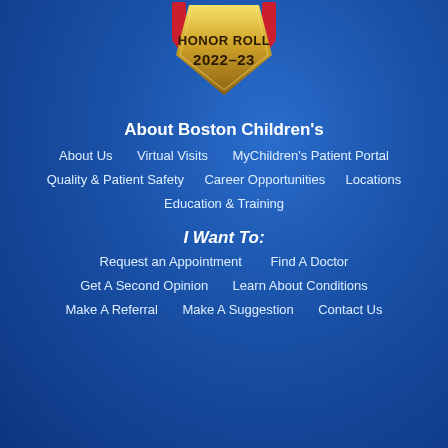[Figure (logo): US News Honor Roll 2022-23 badge/medal — gold shield shape with red ribbon accent and text 'HONOR ROLL 2022-23']
About Boston Children's
About Us
Virtual Visits
MyChildren's Patient Portal
Quality & Patient Safety
Career Opportunities
Locations
Education & Training
I Want To:
Request an Appointment
Find A Doctor
Get A Second Opinion
Learn About Conditions
Make A Referral
Make A Suggestion
Contact Us